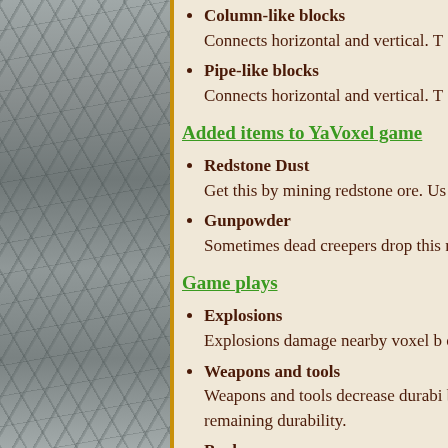Column-like blocks
Connects horizontal and vertical. T
Pipe-like blocks
Connects horizontal and vertical. T
Added items to YaVoxel game
Redstone Dust
Get this by mining redstone ore. Us
Gunpowder
Sometimes dead creepers drop this recipes.
Game plays
Explosions
Explosions damage nearby voxel b of the explosion.
Weapons and tools
Weapons and tools decrease durabi below a weapon or tool icon is disp remaining durability.
Books
Handling reworked. Picked up boo They are no longer managed as iter
Waterfall mist